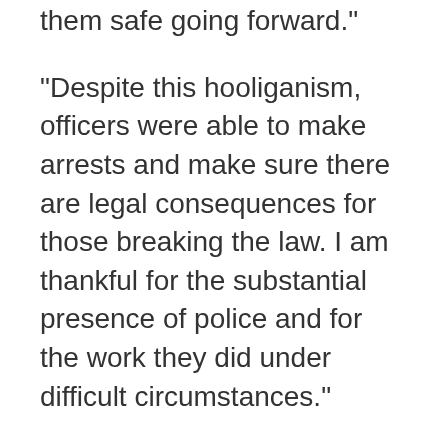them safe going forward."
"Despite this hooliganism, officers were able to make arrests and make sure there are legal consequences for those breaking the law. I am thankful for the substantial presence of police and for the work they did under difficult circumstances."
On Monday, police said they will be at the scene with municipal bylaw enforcement officers to patrol the area.
“A number of police resources will be in the area tonight to facilitate what we hope can be a peaceful and safe celebration for the many people and families celebrating the long weekend,” Bassingwaite said.